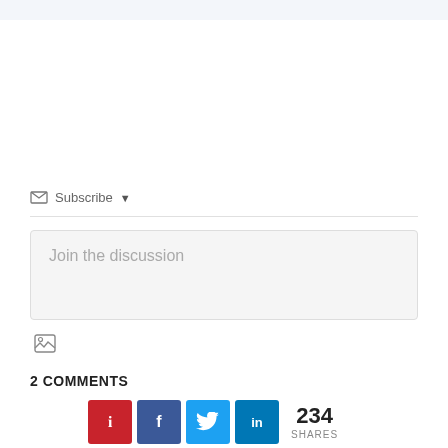Subscribe ▾
Join the discussion
[Figure (illustration): Image upload icon (small square with mountain/photo symbol)]
2 COMMENTS
[Figure (infographic): Social sharing buttons: Pinterest (red), Facebook (dark blue), Twitter (light blue), LinkedIn (blue), with share count 234 SHARES]